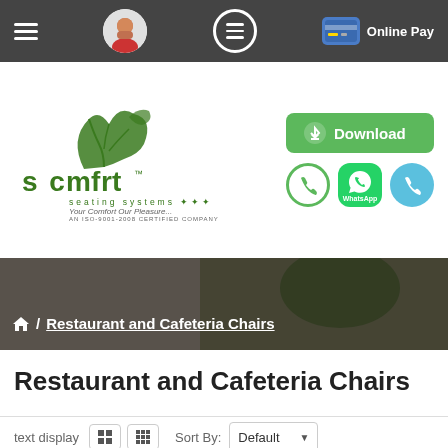Navigation bar with menu icons, user profile, and Online Pay button
[Figure (logo): S Comfort Seating Systems logo with green tree/leaf graphic, tagline 'Your Comfort Our Pleasure...', 'AN ISO-9001-2008 CERTIFIED COMPANY', Download button, WhatsApp and phone contact icons]
[Figure (photo): Hero banner photo of restaurant/cafeteria seating area, blurred background]
🏠 / Restaurant and Cafeteria Chairs
Restaurant and Cafeteria Chairs
text  display  [grid icons]  Sort By: Default